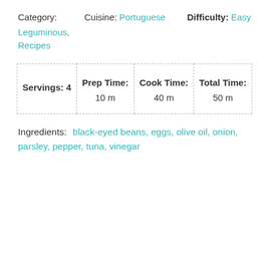Category:  Cuisine: Portuguese  Difficulty: Easy
Leguminous, Recipes
| Servings: 4 | Prep Time: | Cook Time: | Total Time: |
| --- | --- | --- | --- |
|  | 10 m | 40 m | 50 m |
Ingredients:  black-eyed beans, eggs, olive oil, onion, parsley, pepper, tuna, vinegar